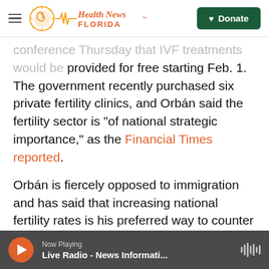Health News Florida — Donate
conference Thursday that IVF treatments would be provided for free starting Feb. 1. The government recently purchased six private fertility clinics, and Orbán said the fertility sector is "of national strategic importance," as the Financial Times reported.
Orbán is fiercely opposed to immigration and has said that increasing national fertility rates is his preferred way to counter the population downturn and risk of labor shortages. Fewer than 10 million people live in Hungary.
"If we want Hungarian children instead of
Now Playing — Live Radio - News Informati...